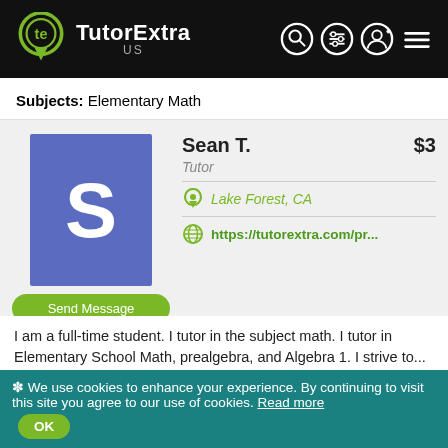TutorExtra US
Subjects: Elementary Math
[Figure (illustration): Profile card for Sean T. showing avatar with letter S on blue background, name, role (Tutor), location (Lake Forest, CA), and website link (https://tutorextra.com/pr...)]
I am a full-time student. I tutor in the subject math. I tutor in Elementary School Math, prealgebra, and Algebra 1. I strive to...
Subjects: Algebra, Elementary Math, Prealgebra
✿ We use cookies to enhance your experience. By continuing to visit this site you agree to our use of cookies. Read more  OK